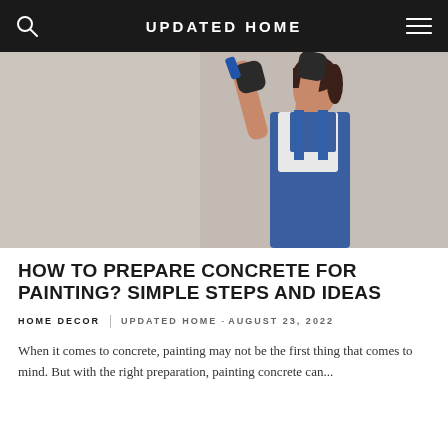UPDATED HOME
[Figure (photo): A woman in blue overalls and black gloves spray painting or applying something to a light gray wall, reaching upward with both hands.]
HOW TO PREPARE CONCRETE FOR PAINTING? SIMPLE STEPS AND IDEAS
HOME DECOR   UPDATED HOME - AUGUST 23, 2022
When it comes to concrete, painting may not be the first thing that comes to mind. But with the right preparation, painting concrete can...